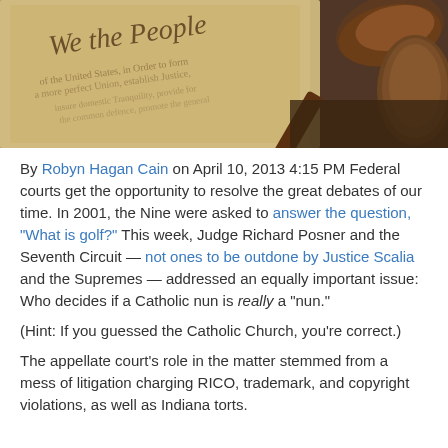[Figure (photo): Photo showing the US Constitution 'We the People' preamble with a wooden gavel on a dark surface]
By Robyn Hagan Cain on April 10, 2013 4:15 PM Federal courts get the opportunity to resolve the great debates of our time. In 2001, the Nine were asked to answer the question, “What is golf?” This week, Judge Richard Posner and the Seventh Circuit — not ones to be outdone by Justice Scalia and the Supremes — addressed an equally important issue: Who decides if a Catholic nun is really a “nun.”
(Hint: If you guessed the Catholic Church, you’re correct.)
The appellate court's role in the matter stemmed from a mess of litigation charging RICO, trademark, and copyright violations, as well as Indiana torts.